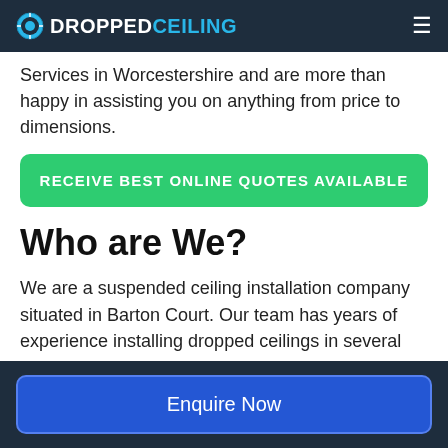DROPPEDCEILING
Services in Worcestershire and are more than happy in assisting you on anything from price to dimensions.
RECEIVE BEST ONLINE QUOTES AVAILABLE
Who are We?
We are a suspended ceiling installation company situated in Barton Court. Our team has years of experience installing dropped ceilings in several settings, including schools, offices, homes, supermarkets, and more.
Enquire Now